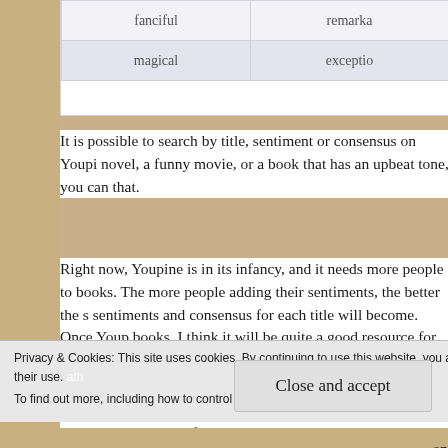|  |  |
| --- | --- |
| fanciful | remarka… |
| magical | exceptio… |
It is possible to search by title, sentiment or consensus on Youpi... novel, a funny movie, or a book that has an upbeat tone, you can... that.
Right now, Youpine is in its infancy, and it needs more people to... books. The more people adding their sentiments, the better the s... sentiments and consensus for each title will become. Once Youp... books, I think it will be quite a good resource for readers and m... and recommendations.
Apart from the need for more members, the site's biggest downfa... books I have searched for so far have not been in the Youpine da... them are from smaller or independent publishers, and are not a...
Privacy & Cookies: This site uses cookies. By continuing to use this website, you agree to their use.
To find out more, including how to control cookies, see here: Cookie Policy
Close and accept